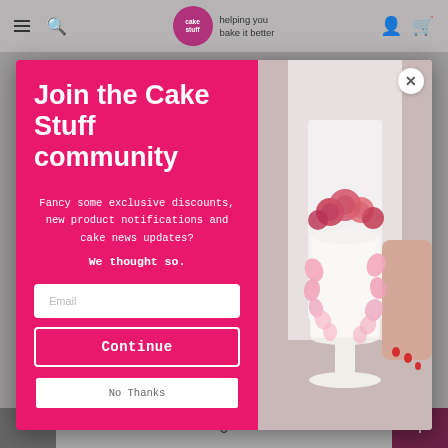cake stuff — helping you bake it better
[Figure (screenshot): Screenshot of Cake Stuff website with a modal popup overlay. The modal has a pink left panel with signup text and the right panel shows a photo of a white layered cake decorated with pink flowers on a white cake stand, held by a person in a white top.]
Join the Cake Stuff community
Fancy some exclusive discounts, new product notifications and cake news updates?
We thought so.
Email
Continue
No Thanks